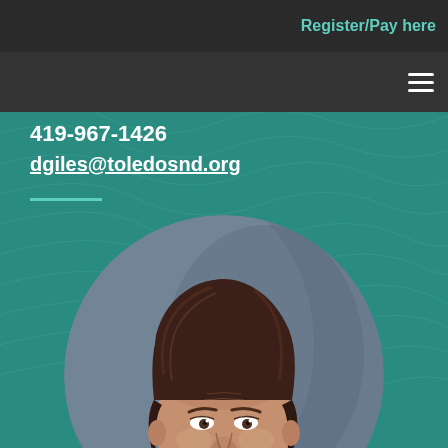Register/Pay here
419-967-1426
dgiles@toledosnd.org
[Figure (photo): Circular portrait photo of a woman with short curly brown hair against a blue-grey studio background]